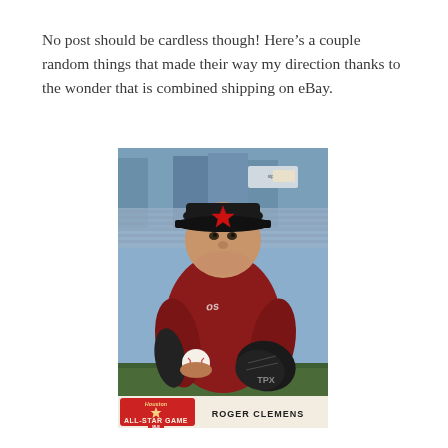No post should be cardless though! Here's a couple random things that made their way my direction thanks to the wonder that is combined shipping on eBay.
[Figure (photo): Baseball card showing Roger Clemens in Houston Astros uniform, holding a baseball and glove, seated at a stadium. Card has 'Houston All-Star Game' badge in bottom left and 'ROGER CLEMENS' text in bottom right.]